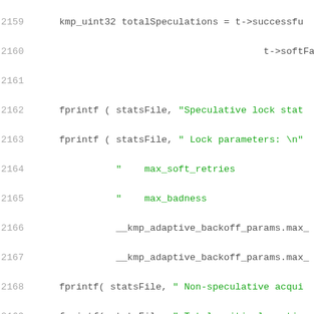[Figure (screenshot): Source code listing showing lines 2159-2179 of a C/C++ file with line numbers on the left and code on the right. Code features fprintf calls with green string literals and grey/black identifiers on a white background.]